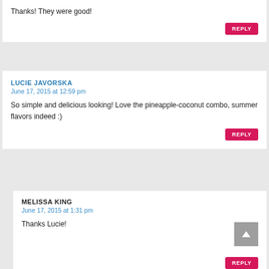Thanks! They were good!
REPLY
LUCIE JAVORSKA
June 17, 2015 at 12:59 pm
So simple and delicious looking! Love the pineapple-coconut combo, summer flavors indeed :)
REPLY
MELISSA KING
June 17, 2015 at 1:31 pm
Thanks Lucie!
REPLY